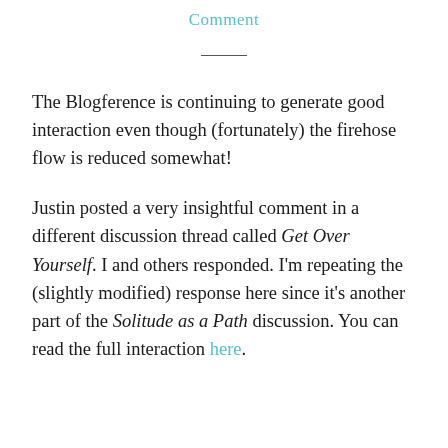Comment
The Blogference is continuing to generate good interaction even though (fortunately) the firehose flow is reduced somewhat!
Justin posted a very insightful comment in a different discussion thread called Get Over Yourself. I and others responded. I'm repeating the (slightly modified) response here since it's another part of the Solitude as a Path discussion. You can read the full interaction here.